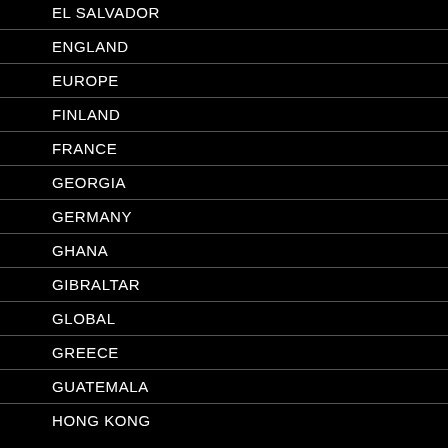EL SALVADOR
ENGLAND
EUROPE
FINLAND
FRANCE
GEORGIA
GERMANY
GHANA
GIBRALTAR
GLOBAL
GREECE
GUATEMALA
HONG KONG